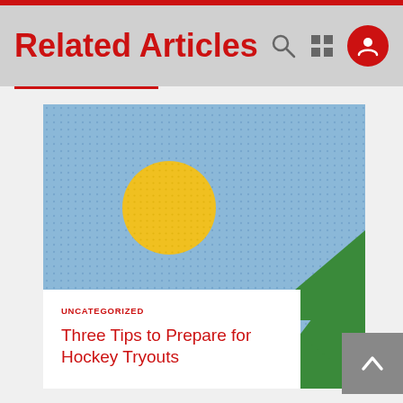Related Articles
[Figure (illustration): Blog article card with a placeholder landscape image (blue dotted sky, yellow sun, green mountains), category label 'UNCATEGORIZED', and article title 'Three Tips to Prepare for Hockey Tryouts']
UNCATEGORIZED
Three Tips to Prepare for Hockey Tryouts